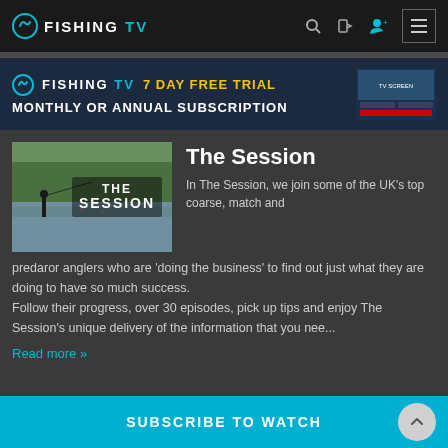FISHING TV
[Figure (screenshot): Fishing TV promotional banner with 7 Day Free Trial offer for monthly or annual subscription]
[Figure (photo): The Session show thumbnail — lake scene with angler and text overlay: THE SESSION]
The Session
In The Session, we join some of the UK's top coarse, match and predaror anglers who are 'doing the business' to find out just what they are doing to have so much success.
Follow their progress, over 30 episodes, pick up tips and enjoy The Session's unique delivery of the information that you nee...
Read more »
SUBSCRIBE TO WATCH